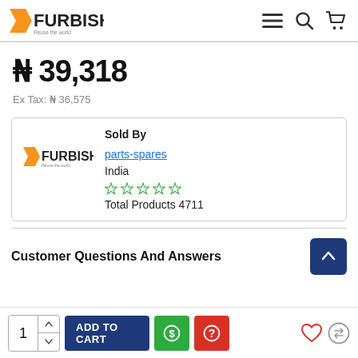XFURBISH - Reuse the world
₦ 39,318
Ex Tax: ₦ 36,575
| Sold By |  |
| --- | --- |
| parts-spares | India |
| ☆☆☆☆☆ |  |
| Total Products 4711 |  |
Customer Questions And Answers
1  ADD TO CART